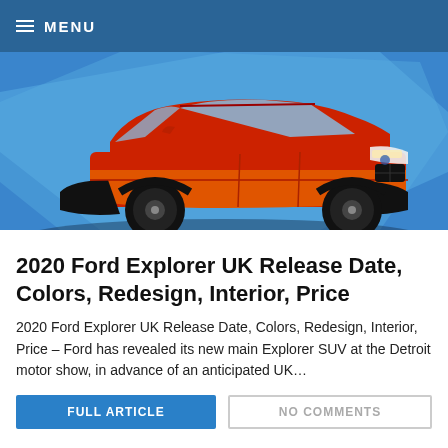≡ MENU
[Figure (photo): Red/orange Ford Explorer SUV on display at the Detroit motor show, photographed against a blue background]
2020 Ford Explorer UK Release Date, Colors, Redesign, Interior, Price
2020 Ford Explorer UK Release Date, Colors, Redesign, Interior, Price – Ford has revealed its new main Explorer SUV at the Detroit motor show, in advance of an anticipated UK…
FULL ARTICLE   NO COMMENTS